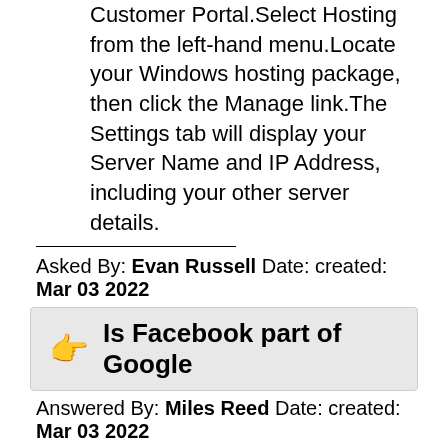Windows AccountsLog in to your Customer Portal.Select Hosting from the left-hand menu.Locate your Windows hosting package, then click the Manage link.The Settings tab will display your Server Name and IP Address, including your other server details.
Asked By: Evan Russell Date: created: Mar 03 2022
Is Facebook part of Google
Answered By: Miles Reed Date: created: Mar 03 2022
Enjoy! In a move that stunned Silicon Valley, Google announced it will purchase popular social network Facebook in a cash and stock deal valued at $25 billion. Google CEO Eric